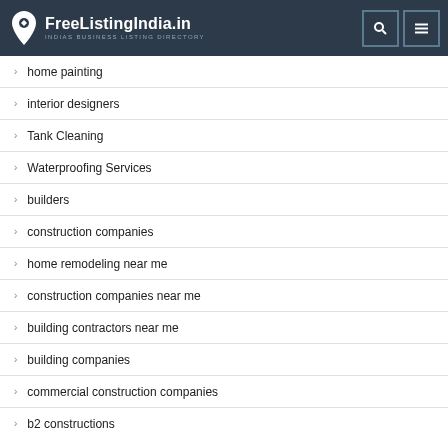FreeListingIndia.in — INDIAS BUSINESS LISTING DIRECTORY
home painting
interior designers
Tank Cleaning
Waterproofing Services
builders
construction companies
home remodeling near me
construction companies near me
building contractors near me
building companies
commercial construction companies
b2 constructions